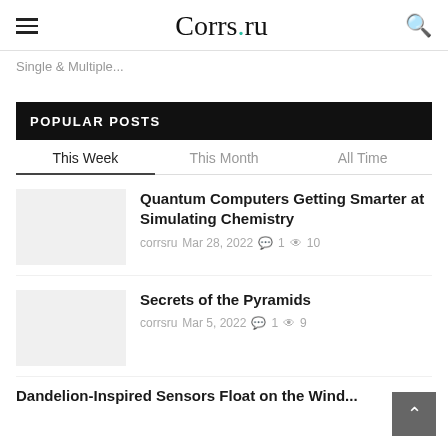Corrs.ru
Single & Multiple...
POPULAR POSTS
This Week	This Month	All Time
Quantum Computers Getting Smarter at Simulating Chemistry — corrsru  Mar 28, 2022  1  10
Secrets of the Pyramids — corrsru  Mar 5, 2022  1  9
Dandelion-Inspired Sensors Float on the Wind...